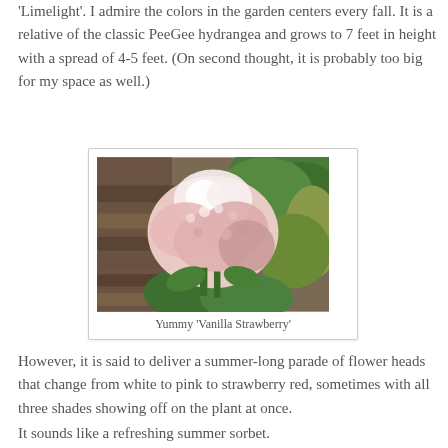'Limelight'. I admire the colors in the garden centers every fall. It is a relative of the classic PeeGee hydrangea and grows to 7 feet in height with a spread of 4-5 feet. (On second thought, it is probably too big for my space as well.)
[Figure (photo): Photo of pink and white hydrangea flower heads (Vanilla Strawberry variety) against a background of green foliage and wooden logs]
Yummy 'Vanilla Strawberry'
However, it is said to deliver a summer-long parade of flower heads that change from white to pink to strawberry red, sometimes with all three shades showing off on the plant at once.
It sounds like a refreshing summer sorbet.